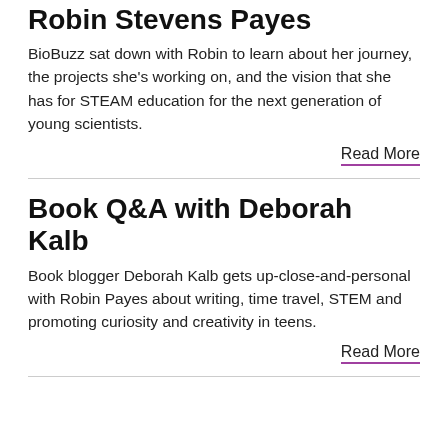Robin Stevens Payes
BioBuzz sat down with Robin to learn about her journey, the projects she's working on, and the vision that she has for STEAM education for the next generation of young scientists.
Read More
Book Q&A with Deborah Kalb
Book blogger Deborah Kalb gets up-close-and-personal with Robin Payes about writing, time travel, STEM and promoting curiosity and creativity in teens.
Read More